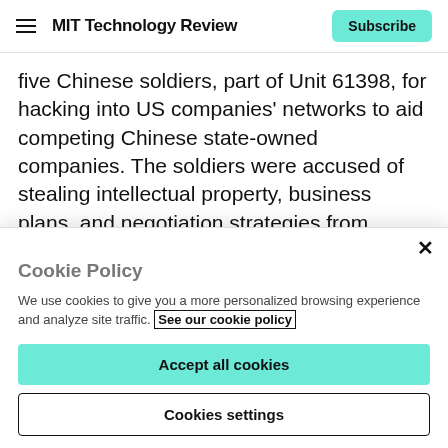MIT Technology Review | Subscribe
five Chinese soldiers, part of Unit 61398, for hacking into US companies' networks to aid competing Chinese state-owned companies. The soldiers were accused of stealing intellectual property, business plans, and negotiation strategies from companies such as Westinghouse and US Steel.
June 28, 2014
Cookie Policy
We use cookies to give you a more personalized browsing experience and analyze site traffic. See our cookie policy
Accept all cookies
Cookies settings